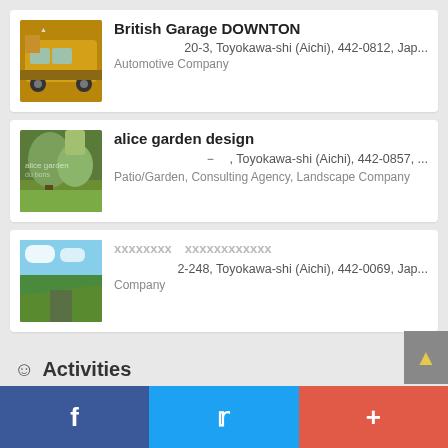[Figure (photo): Orange vintage British mini car]
British Garage DOWNTON
20-3, Toyokawa-shi (Aichi), 442-0812, Jap...
Automotive Company
[Figure (photo): Garden with trees and flowers]
alice garden design
－　, Toyokawa-shi (Aichi), 442-0857, ...
Patio/Garden, Consulting Agency, Landscape Company
[Figure (photo): Mountain road landscape]
xxxxxxxx　xxxxxxxxxxxx
2-248, Toyokawa-shi (Aichi), 442-0069, Jap...
Company
Activities
[Figure (photo): River or lake landscape]
xxxxxxxxxxxxxxxx